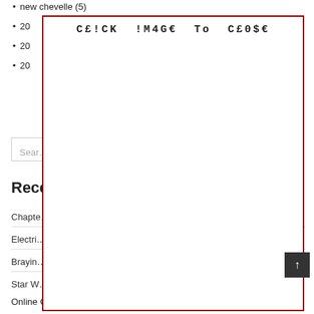new chevelle (5)
20…
20…
20…
[Figure (screenshot): Popup overlay box with text 'C£!CK !M4G€ To C£0$€' in monospace font, bordered in dark red]
Search
Rece…
Chapte…
Electri…
Brayin…
Star W…
↑
Online Crossword Puzzle Maker With Answer Key